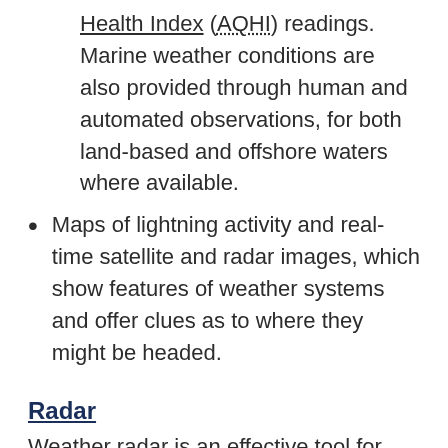Health Index (AQHI) readings. Marine weather conditions are also provided through human and automated observations, for both land-based and offshore waters where available.
Maps of lightning activity and real-time satellite and radar images, which show features of weather systems and offer clues as to where they might be headed.
Radar
Weather radar is an effective tool for detecting and tracking all forms of precipitation.